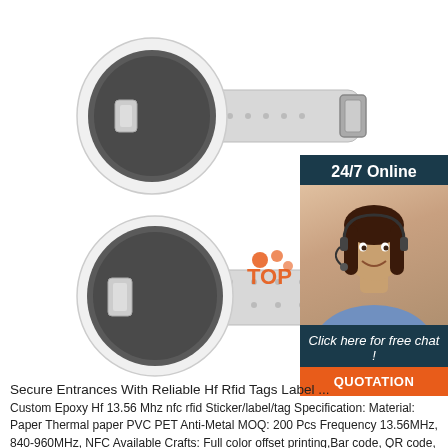[Figure (photo): Two RFID wristband/tag devices with clear plastic strap and dark circular RFID disc, shown from top and bottom angles on white background]
[Figure (infographic): 24/7 Online chat widget showing a smiling woman with headset, dark teal background, italic text 'Click here for free chat!' and orange QUOTATION button]
Secure Entrances With Reliable Hf Rfid Tags Label ...
Custom Epoxy Hf 13.56 Mhz nfc rfid Sticker/label/tag Specification: Material: Paper Thermal paper PVC PET Anti-Metal MOQ: 200 Pcs Frequency 13.56MHz, 840-960MHz, NFC Available Crafts: Full color offset printing,Bar code, QR code, Sequential number printing, encoding, 3M adhesive, overlay Chip Available: Protocol: 14443A,